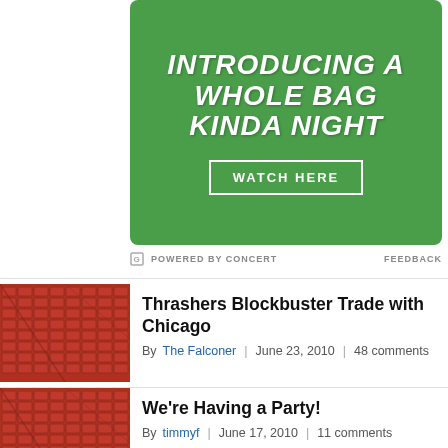[Figure (illustration): Green textured advertisement banner with white bold italic text reading 'INTRODUCING A WHOLE BAG KINDA NIGHT' and a 'WATCH HERE' button with white border]
POWERED BY CONCERT   FEEDBACK
[Figure (photo): Red stadium seats viewed from above at an angle]
Thrashers Blockbuster Trade with Chicago
By The Falconer | June 23, 2010 | 48 comments
[Figure (photo): Red stadium seats viewed from above at an angle]
We're Having a Party!
By timmyf | June 17, 2010 | 11 comments